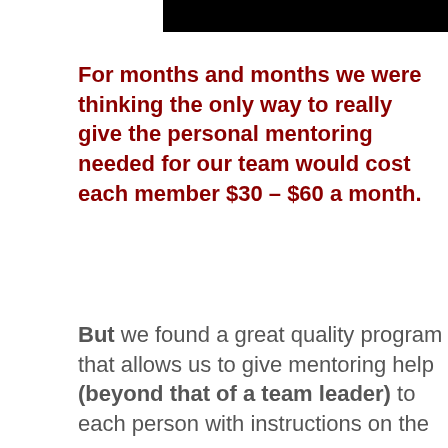[Figure (other): Black rectangular bar at top of page]
For months and months we were thinking the only way to really give the personal mentoring needed for our team would cost each member $30 – $60 a month.
But we found a great quality program that allows us to give mentoring help (beyond that of a team leader) to each person with instructions on the